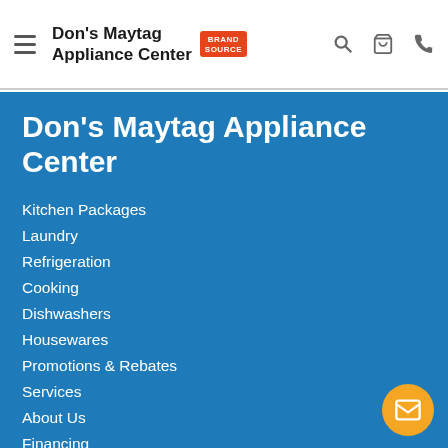Don's Maytag Appliance Center — BrandSource header with hamburger menu, search, cart, phone icons
Don's Maytag Appliance Center
Kitchen Packages
Laundry
Refrigeration
Cooking
Dishwashers
Housewares
Promotions & Rebates
Services
About Us
Financing